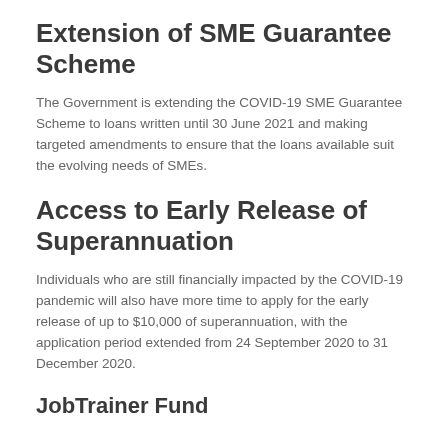Extension of SME Guarantee Scheme
The Government is extending the COVID-19 SME Guarantee Scheme to loans written until 30 June 2021 and making targeted amendments to ensure that the loans available suit the evolving needs of SMEs.
Access to Early Release of Superannuation
Individuals who are still financially impacted by the COVID-19 pandemic will also have more time to apply for the early release of up to $10,000 of superannuation, with the application period extended from 24 September 2020 to 31 December 2020.
JobTrainer Fund